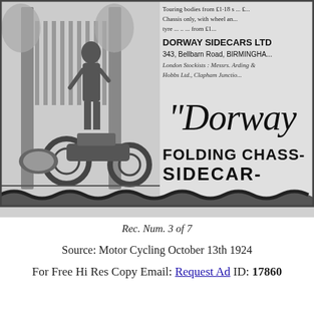[Figure (illustration): Vintage advertisement for Dorway Sidecars Ltd. Left half shows a pen-and-ink illustration of a man with a motorcycle and sidecar at a garden gate. Right half shows text: partial lines about touring bodies and chassis pricing, DORWAY SIDECARS LTD, 343 Bellbarn Road BIRMINGHAM, London Stockists Messrs Arding & Hobbs Ltd Clapham Junction, large script 'Dorway', and bold text 'FOLDING CHASS- SIDECAR-' with wavy border at bottom.]
Rec. Num. 3 of 7
Source: Motor Cycling October 13th 1924
For Free Hi Res Copy Email: Request Ad ID: 17860